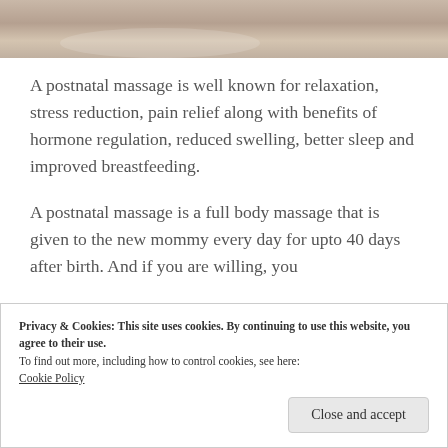[Figure (photo): Partial photo at top showing massage/spa setting with soft warm tones]
A postnatal massage is well known for relaxation, stress reduction, pain relief along with benefits of hormone regulation, reduced swelling, better sleep and improved breastfeeding.
A postnatal massage is a full body massage that is given to the new mommy every day for upto 40 days after birth. And if you are willing, you
Privacy & Cookies: This site uses cookies. By continuing to use this website, you agree to their use.
To find out more, including how to control cookies, see here:
Cookie Policy
Close and accept